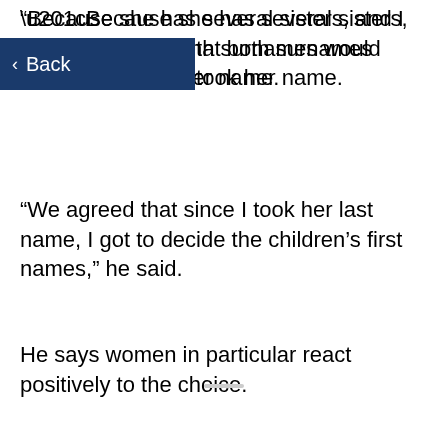Back
“Because she has several sisters, and I have likely that both surnames would pass on if I took her name.
“We agreed that since I took her last name, I got to decide the children’s first names,” he said.
He says women in particular react positively to the choice.